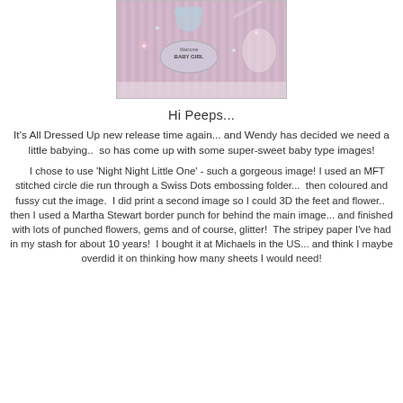[Figure (photo): A handmade baby girl card with pink and blue colors, featuring a teddy bear, flowers, gems, and a 'Baby Girl' oval label on striped paper with white furry border]
Hi Peeps...
It's All Dressed Up new release time again... and Wendy has decided we need a little babying..  so has come up with some super-sweet baby type images!
I chose to use 'Night Night Little One' - such a gorgeous image! I used an MFT stitched circle die run through a Swiss Dots embossing folder...  then coloured and fussy cut the image.  I did print a second image so I could 3D the feet and flower..  then I used a Martha Stewart border punch for behind the main image... and finished with lots of punched flowers, gems and of course, glitter!  The stripey paper I've had in my stash for about 10 years!  I bought it at Michaels in the US... and think I maybe overdid it on thinking how many sheets I would need!